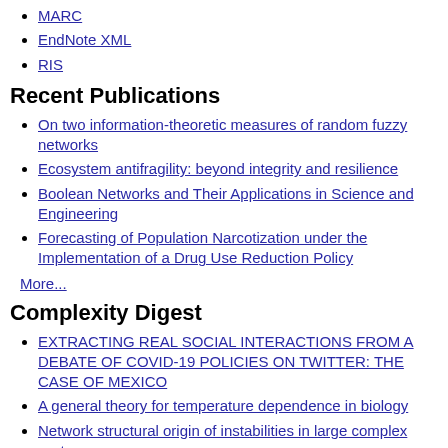MARC
EndNote XML
RIS
Recent Publications
On two information-theoretic measures of random fuzzy networks
Ecosystem antifragility: beyond integrity and resilience
Boolean Networks and Their Applications in Science and Engineering
Forecasting of Population Narcotization under the Implementation of a Drug Use Reduction Policy
More...
Complexity Digest
EXTRACTING REAL SOCIAL INTERACTIONS FROM A DEBATE OF COVID-19 POLICIES ON TWITTER: THE CASE OF MEXICO
A general theory for temperature dependence in biology
Network structural origin of instabilities in large complex systems